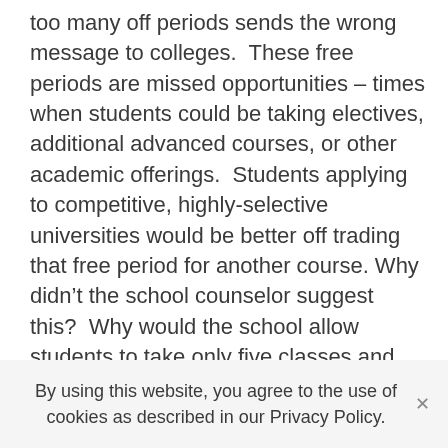too many off periods sends the wrong message to colleges.  These free periods are missed opportunities – times when students could be taking electives, additional advanced courses, or other academic offerings.  Students applying to competitive, highly-selective universities would be better off trading that free period for another course. Why didn't the school counselor suggest this?  Why would the school allow students to take only five classes and leave campus at 12:30?  Public or private, most schools are paid by the student, not the number of classes that student takes. Allowing students to opt for off-campus periods is a boon to schools.  They can reduce class size, ease
By using this website, you agree to the use of cookies as described in our Privacy Policy.